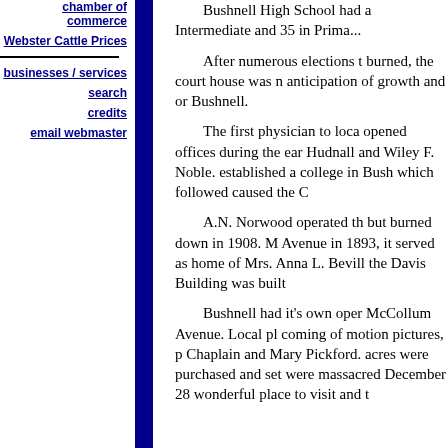chamber of commerce
Webster Cattle Prices
businesses / services
search
credits
email webmaster
Bushnell High School had a ... Intermediate and 35 in Prima...
After numerous elections t... burned, the court house was ... anticipation of growth and o... Bushnell.
The first physician to loca... opened offices during the ear... Hudnall and Wiley F. Noble.... established a college in Bush... which followed caused the C...
A.N. Norwood operated th... but burned down in 1908. M... Avenue in 1893, it served as ... home of Mrs. Anna L. Bevill... the Davis Building was built ...
Bushnell had it's own oper... McCollum Avenue. Local pl... coming of motion pictures, p... Chaplain and Mary Pickford.... acres were purchased and set... were massacred December 28... wonderful place to visit and t...